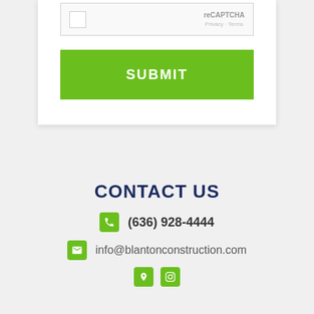[Figure (screenshot): reCAPTCHA widget box with Privacy and Terms links]
SUBMIT
CONTACT US
(636) 928-4444
info@blantonconstruction.com